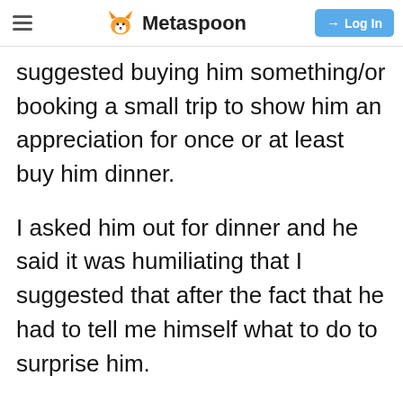Metaspoon | Log In
suggested buying him something/or booking a small trip to show him an appreciation for once or at least buy him dinner.
I asked him out for dinner and he said it was humiliating that I suggested that after the fact that he had to tell me himself what to do to surprise him.
We made up anyways, and yesterday I invited him to dinner. I intended to